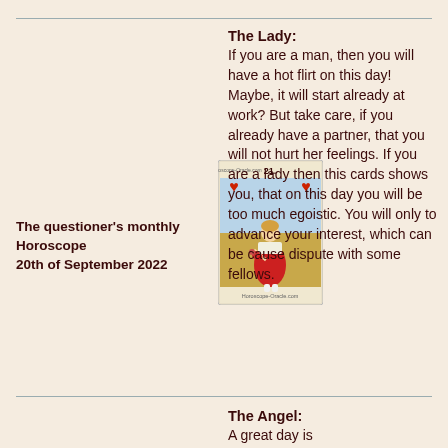The questioner's monthly Horoscope
20th of September 2022
[Figure (illustration): Tarot card number 21 showing a woman in a red dress carrying flowers, with two red hearts on either side and text at top and bottom edges of the card]
The Lady:
If you are a man, then you will have a hot flirt on this day! Maybe, it will start already at work? But take care, if you already have a partner, that you will not hurt her feelings. If you are a lady then this cards shows you, that on this day you will be too much egoistic. You will only to advance your interest, which can be cause dispute with some fellows.
The Angel:
A great day is